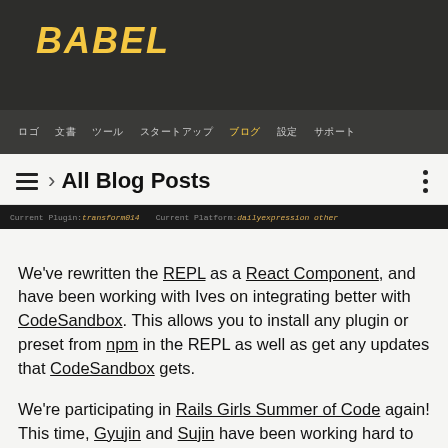BABEL
ロゴ　　文書　　ツール　　スタートアップ　　ブログ　　設定　　サポート
≡ › All Blog Posts
[Figure (screenshot): Dark terminal/code screenshot showing current plugin and parser platform settings]
We've rewritten the REPL as a React Component, and have been working with Ives on integrating better with CodeSandbox. This allows you to install any plugin or preset from npm in the REPL as well as get any updates that CodeSandbox gets.
We're participating in Rails Girls Summer of Code again! This time, Gyujin and Sujin have been working hard to integrate Boopathi's babel-time-travel into the REPL which you can already test now!
There are so many opportunities here to get involved to